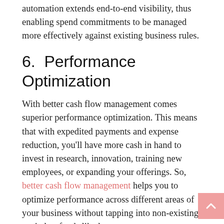automation extends end-to-end visibility, thus enabling spend commitments to be managed more effectively against existing business rules.
6.  Performance Optimization
With better cash flow management comes superior performance optimization. This means that with expedited payments and expense reduction, you'll have more cash in hand to invest in research, innovation, training new employees, or expanding your offerings. So, better cash flow management helps you to optimize performance across different areas of your business without tapping into non-existing capital or funds like loans.